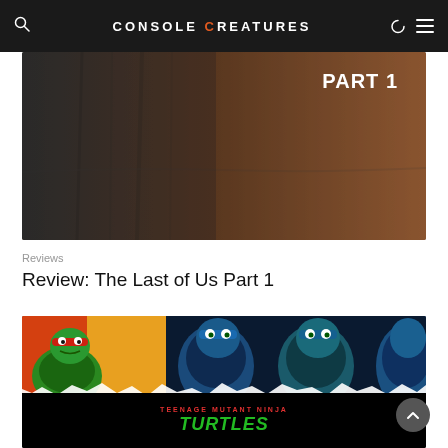CONSOLE CREATURES
[Figure (photo): The Last of Us Part 1 hero image with dark rocky cave background and 'PART 1' text in white]
Reviews
Review: The Last of Us Part 1
[Figure (photo): Teenage Mutant Ninja Turtles promotional image showing cartoon and realistic TMNT characters with green and red color scheme on black background, with 'TEENAGE MUTANT NINJA TURTLES' text at bottom]